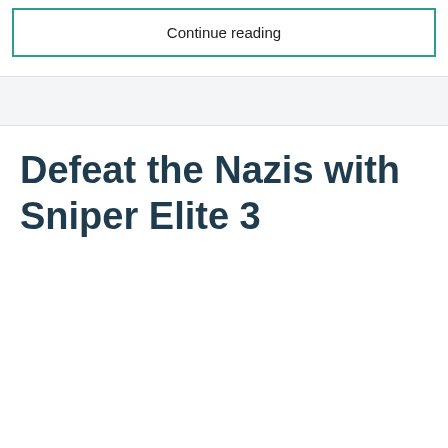Continue reading
Defeat the Nazis with Sniper Elite 3